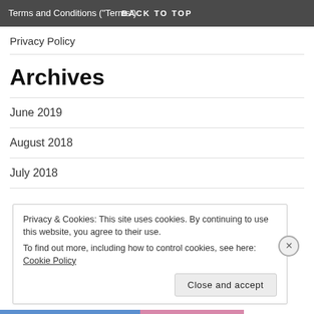Terms and Conditions ("Terms") | BACK TO TOP
Privacy Policy
Archives
June 2019
August 2018
July 2018
Privacy & Cookies: This site uses cookies. By continuing to use this website, you agree to their use.
To find out more, including how to control cookies, see here: Cookie Policy
Close and accept